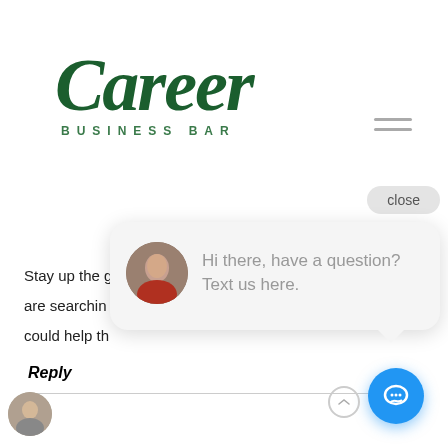[Figure (logo): Career Business Bar logo: 'Career' in large dark green italic brush-script font, with 'BUSINESS BAR' in small spaced green uppercase sans-serif below]
[Figure (infographic): Hamburger menu icon (three horizontal lines) in upper right area]
Stay up the gr...l! You realize that for...
are searchin...
could help th...
Reply
[Figure (screenshot): Chat popup overlay with 'close' button, avatar of a woman in red top, and message 'Hi there, have a question? Text us here.' with a blue chat button in the bottom right corner]